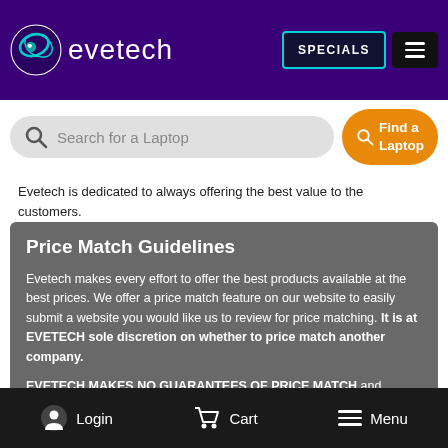evetech | SPECIALS
[Figure (screenshot): Evetech website header with logo, SPECIALS button, and menu button on purple background]
[Figure (screenshot): Search bar with 'Search for a Laptop' placeholder and 'Find a Laptop' orange button]
Evetech is dedicated to always offering the best value to the customers.
Price Match Guidelines
Evetech makes every effort to offer the best products available at the best prices. We offer a price match feature on our website to easily submit a website you would like us to review for price matching. It is at EVETECH sole discretion on whether to price match another company.
EVETECH MAKES NO GUARANTEES OF PRICE MATCH and reviews many factors on what is being provided by a competitor to our company along with our cost on the item in question.
Login   Cart   Menu